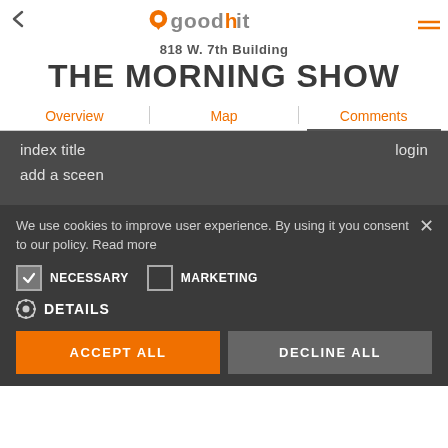[Figure (logo): GoodHit app logo with orange location pin icon and stylized text]
818 W. 7th Building
THE MORNING SHOW
Overview   Map   Comments
index title
login
add a sceen
We use cookies to improve user experience. By using it you consent to our policy. Read more
NECESSARY   MARKETING
DETAILS
ACCEPT ALL   DECLINE ALL